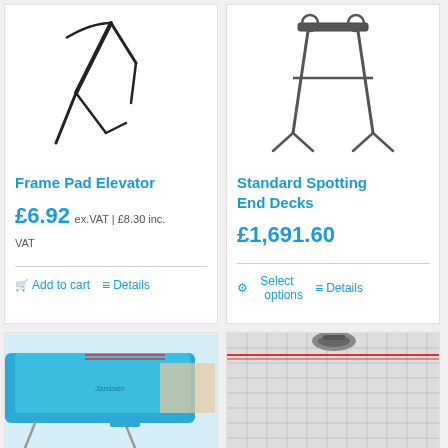[Figure (photo): Frame Pad Elevator product photo - black metal frame part]
Frame Pad Elevator
£6.92 ex.VAT | £8.30 inc. VAT
Add to cart | Details
[Figure (photo): Standard Spotting End Decks product photo - metal frame with wheels]
Standard Spotting End Decks
£1,691.60
Select options | Details
[Figure (photo): Blue padded gymnastics equipment with metal legs]
[Figure (photo): Grid floor surface with gymnastics equipment wheel]